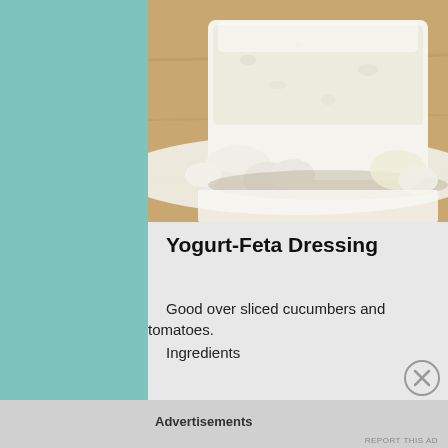[Figure (photo): Close-up photo of crumbled white feta cheese on white parchment paper on a wooden cutting board background]
Yogurt-Feta Dressing
Good over sliced cucumbers and tomatoes.
Ingredients
Advertisements